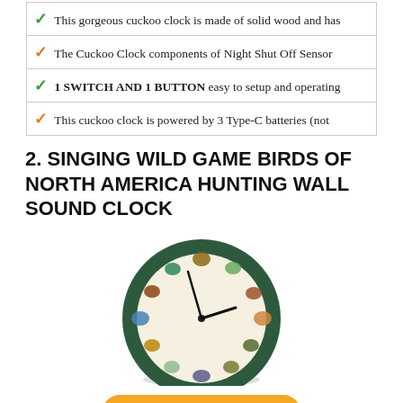✓ This gorgeous cuckoo clock is made of solid wood and has
✓ The Cuckoo Clock components of Night Shut Off Sensor
✓ 1 SWITCH AND 1 BUTTON easy to setup and operating
✓ This cuckoo clock is powered by 3 Type-C batteries (not
2. SINGING WILD GAME BIRDS OF NORTH AMERICA HUNTING WALL SOUND CLOCK
[Figure (photo): A round wall clock with a dark green frame and a cream/beige face featuring illustrations of various wild game birds of North America arranged around the clock face at the hour positions, with black clock hands.]
Check Price On Amazon
Features: